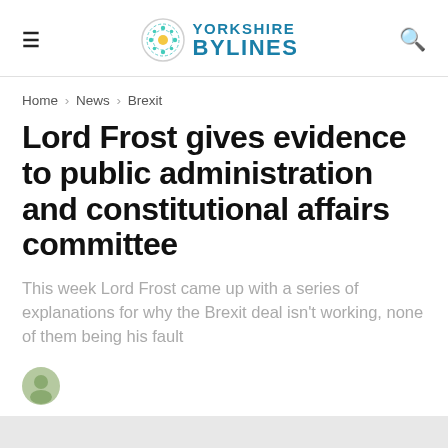Yorkshire Bylines
Home > News > Brexit
Lord Frost gives evidence to public administration and constitutional affairs committee
This week Lord Frost came up with a series of explanations for why the Brexit deal isn't working, none of them being his fault